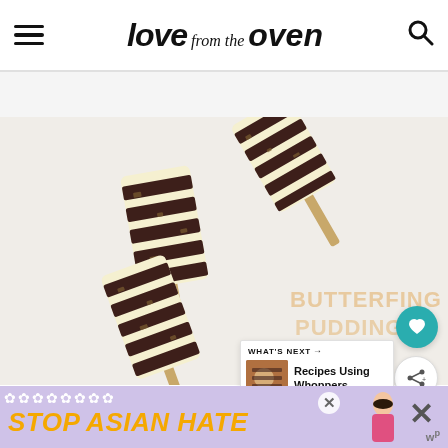love from the oven
[Figure (photo): Photo of Butterfinger Pudding Pops — chocolate and vanilla swirled frozen pops on sticks arranged on a white surface, with text overlay reading BUTTERFINGER PUDDING POPS]
WHAT'S NEXT → Recipes Using Whoppers
[Figure (photo): Thumbnail photo of Recipes Using Whoppers]
STOP ASIAN HATE